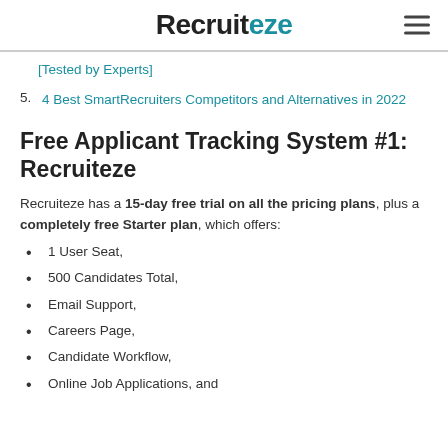Recruiteze
[Tested by Experts]
5. 4 Best SmartRecruiters Competitors and Alternatives in 2022
Free Applicant Tracking System #1: Recruiteze
Recruiteze has a 15-day free trial on all the pricing plans, plus a completely free Starter plan, which offers:
1 User Seat,
500 Candidates Total,
Email Support,
Careers Page,
Candidate Workflow,
Online Job Applications, and